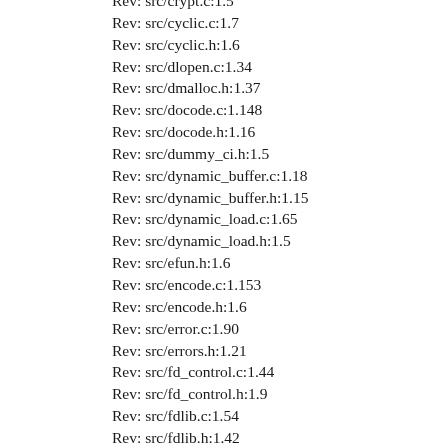Rev: src/crypt.c:1.5
Rev: src/cyclic.c:1.7
Rev: src/cyclic.h:1.6
Rev: src/dlopen.c:1.34
Rev: src/dmalloc.h:1.37
Rev: src/docode.c:1.148
Rev: src/docode.h:1.16
Rev: src/dummy_ci.h:1.5
Rev: src/dynamic_buffer.c:1.18
Rev: src/dynamic_buffer.h:1.15
Rev: src/dynamic_load.c:1.65
Rev: src/dynamic_load.h:1.5
Rev: src/efun.h:1.6
Rev: src/encode.c:1.153
Rev: src/encode.h:1.6
Rev: src/error.c:1.90
Rev: src/errors.h:1.21
Rev: src/fd_control.c:1.44
Rev: src/fd_control.h:1.9
Rev: src/fdlib.c:1.54
Rev: src/fdlib.h:1.42
Rev: src/fsort.c:1.20
Rev: src/fsort.h:1.5
Rev: src/fsort_template.h:1.12
Rev: src/gc.c:1.186
Rev: src/gc.h:1.91